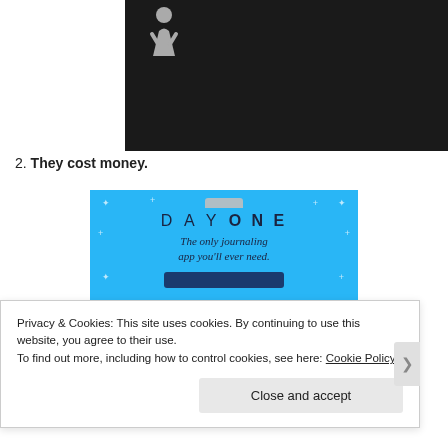[Figure (illustration): Dark background image with a white female person icon/silhouette in the upper left area]
2. They cost money.
[Figure (screenshot): Blue advertisement banner for DAY ONE journaling app with text: DAY ONE - The only journaling app you'll ever need.]
Privacy & Cookies: This site uses cookies. By continuing to use this website, you agree to their use.
To find out more, including how to control cookies, see here: Cookie Policy
Close and accept